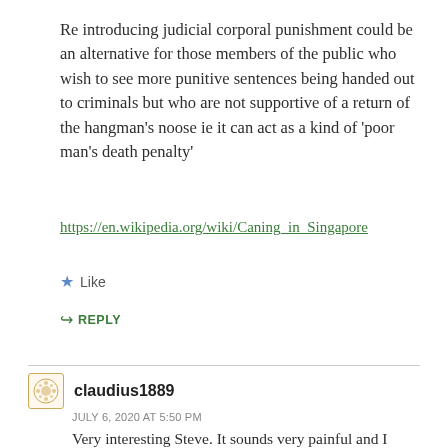Re introducing judicial corporal punishment could be an alternative for those members of the public who wish to see more punitive sentences being handed out to criminals but who are not supportive of a return of the hangman’s noose ie it can act as a kind of ‘poor man’s death penalty’
https://en.wikipedia.org/wiki/Caning_in_Singapore
★ Like
↳ REPLY
claudius1889
JULY 6, 2020 AT 5:50 PM
Very interesting Steve. It sounds very painful and I changed my mind about visiting Singapore. LOL